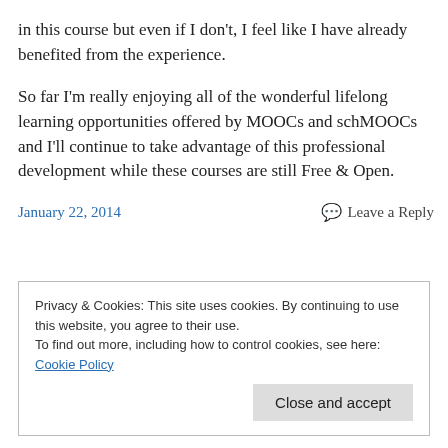in this course but even if I don't, I feel like I have already benefited from the experience.
So far I'm really enjoying all of the wonderful lifelong learning opportunities offered by MOOCs and schMOOCs and I'll continue to take advantage of this professional development while these courses are still Free & Open.
January 22, 2014    Leave a Reply
Privacy & Cookies: This site uses cookies. By continuing to use this website, you agree to their use.
To find out more, including how to control cookies, see here: Cookie Policy
Close and accept